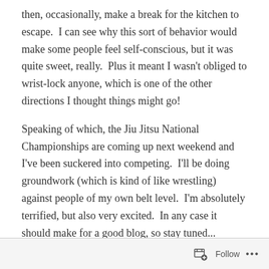then, occasionally, make a break for the kitchen to escape.  I can see why this sort of behavior would make some people feel self-conscious, but it was quite sweet, really.  Plus it meant I wasn't obliged to wrist-lock anyone, which is one of the other directions I thought things might go!
Speaking of which, the Jiu Jitsu National Championships are coming up next weekend and I've been suckered into competing.  I'll be doing groundwork (which is kind of like wrestling) against people of my own belt level.  I'm absolutely terrified, but also very excited.  In any case it should make for a good blog, so stay tuned...
Apology Footer
Follow